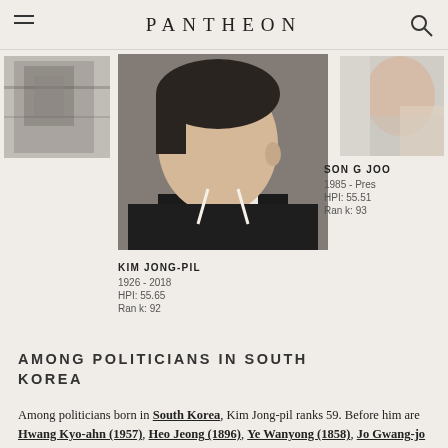PANTHEON
[Figure (photo): Partial black-and-white photo of a person, left card, partially cropped]
[Figure (photo): Color photo of Kim Jong-pil in profile, side view, wearing a dark suit]
[Figure (photo): Partial color photo of Song Joo, right card, partially cropped]
KIM JONG-PIL
1926 - 2018
HPI: 55.65
Rank: 92
SONG JOO
1985 - Pres
HPI: 55.51
Rank: 93
AMONG POLITICIANS IN SOUTH KOREA
Among politicians born in South Korea, Kim Jong-pil ranks 59. Before him are Hwang Kyo-ahn (1957), Heo Jeong (1896), Ye Wanyong (1858), Jo Gwang-jo (1482), Kim Seong-su (1891), and Kim Kyu-sik (1881),